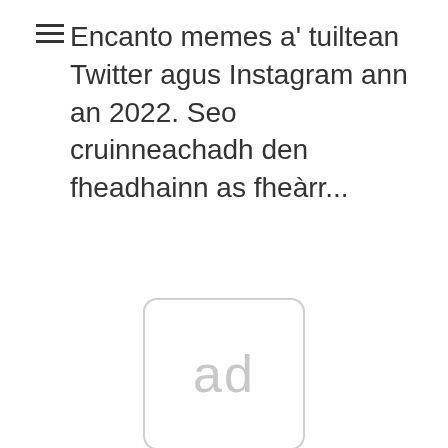Encanto memes a' tuiltean Twitter agus Instagram ann an 2022. Seo cruinneachadh den fheadhainn as fheàrr...
[Figure (other): Advertisement placeholder box with rounded corners containing the text 'ad' in light grey]